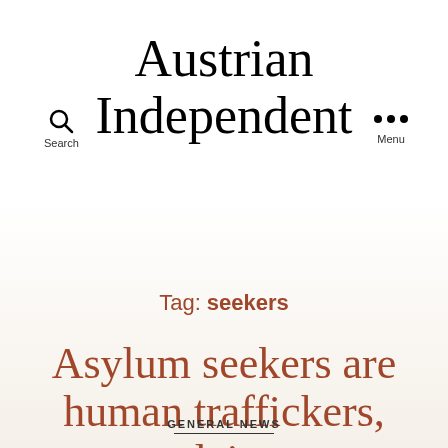Austrian Independent
Tag: seekers
Asylum seekers are human traffickers, claim
GENERAL NEWS